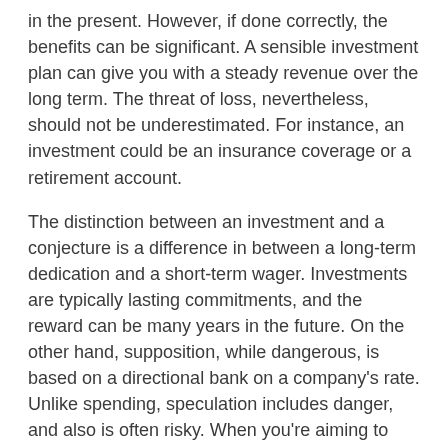in the present. However, if done correctly, the benefits can be significant. A sensible investment plan can give you with a steady revenue over the long term. The threat of loss, nevertheless, should not be underestimated. For instance, an investment could be an insurance coverage or a retirement account.
The distinction between an investment and a conjecture is a difference in between a long-term dedication and a short-term wager. Investments are typically lasting commitments, and the reward can be many years in the future. On the other hand, supposition, while dangerous, is based on a directional bank on a company's rate. Unlike spending, speculation includes danger, and also is often risky. When you're aiming to invest, you should recognize your threat resistance as well as timeline.
important source